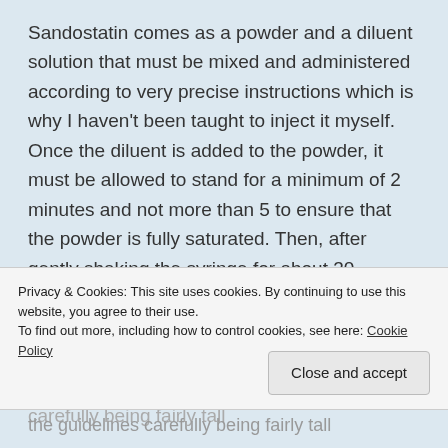Sandostatin comes as a powder and a diluent solution that must be mixed and administered according to very precise instructions which is why I haven't been taught to inject it myself. Once the diluent is added to the powder, it must be allowed to stand for a minimum of 2 minutes and not more than 5 to ensure that the powder is fully saturated. Then, after gently shaking the syringe for about 30 seconds to ensure that the powder is completely suspended, the nurse has to administer it without delay to avoid sedimentation. Even following
Privacy & Cookies: This site uses cookies. By continuing to use this website, you agree to their use.
To find out more, including how to control cookies, see here: Cookie Policy
Close and accept